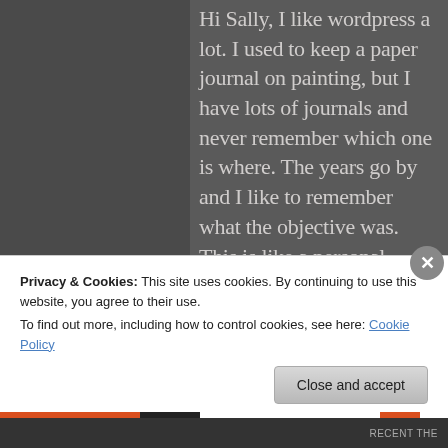Hi Sally, I like wordpress a lot. I used to keep a paper journal on painting, but I have lots of journals and never remember which one is where. The years go by and I like to remember what the objective was. This is like a personal journal with everything in one place. Thanks for the feedback. I like to hear your thoughts.
Privacy & Cookies: This site uses cookies. By continuing to use this website, you agree to their use.
To find out more, including how to control cookies, see here: Cookie Policy